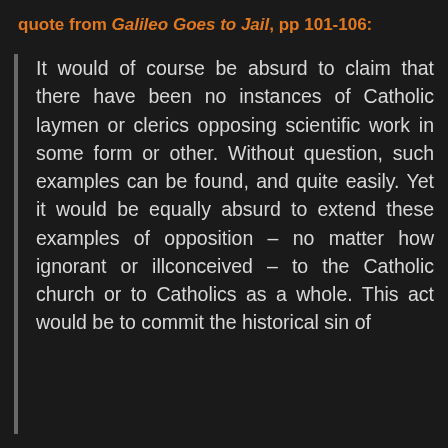quote from Galileo Goes to Jail, pp 101-106:
It would of course be absurd to claim that there have been no instances of Catholic laymen or clerics opposing scientific work in some form or other. Without question, such examples can be found, and quite easily. Yet it would be equally absurd to extend these examples of opposition – no matter how ignorant or illconceived – to the Catholic church or to Catholics as a whole. This act would be to commit the historical sin of